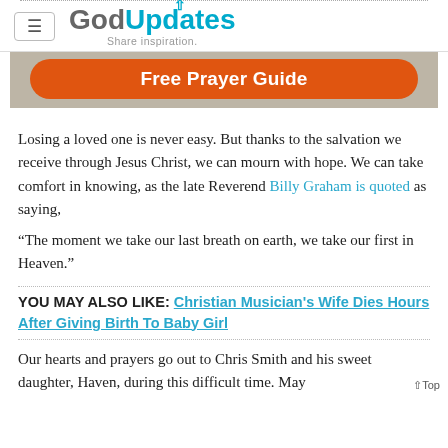GodUpdates — Share inspiration.
[Figure (other): Orange rounded button with text 'Free Prayer Guide' on a beige/gray background banner]
Losing a loved one is never easy. But thanks to the salvation we receive through Jesus Christ, we can mourn with hope. We can take comfort in knowing, as the late Reverend Billy Graham is quoted as saying,
“The moment we take our last breath on earth, we take our first in Heaven.”
YOU MAY ALSO LIKE: Christian Musician's Wife Dies Hours After Giving Birth To Baby Girl
Our hearts and prayers go out to Chris Smith and his sweet daughter, Haven, during this difficult time. May